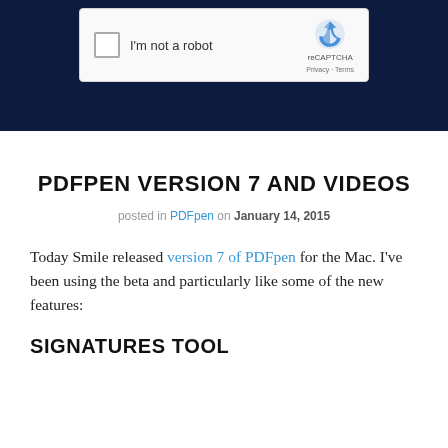[Figure (screenshot): Screenshot of a reCAPTCHA widget on a dark navy background. The widget shows a checkbox labeled 'I'm not a robot' and the reCAPTCHA logo with 'reCAPTCHA' text and 'Privacy · Terms' links.]
PDFPEN VERSION 7 AND VIDEOS
posted in PDFpen on January 14, 2015
Today Smile released version 7 of PDFpen for the Mac. I've been using the beta and particularly like some of the new features:
SIGNATURES TOOL